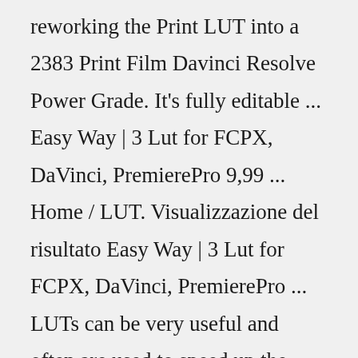reworking the Print LUT into a 2383 Print Film Davinci Resolve Power Grade. It's fully editable ... Easy Way | 3 Lut for FCPX, DaVinci, PremierePro 9,99 ... Home / LUT. Visualizzazione del risultato Easy Way | 3 Lut for FCPX, DaVinci, PremierePro ... LUTs can be very useful and often are used to speed up the process of post production video work. Instead of importing a clip into your preferred video editing software and